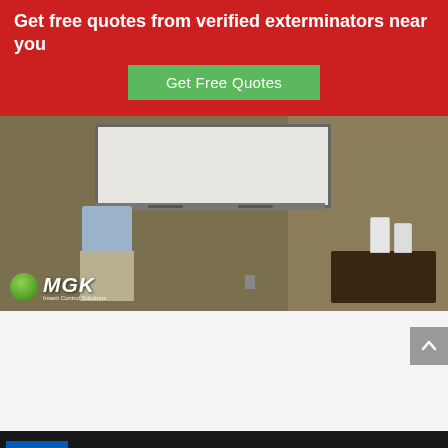Get free quotes from verified exterminators near you
Get Free Quotes
[Figure (screenshot): Video screenshot showing a person standing in front of a whiteboard in a room, with the MGK Insect Control Solutions logo in the bottom left corner. A dark wooden table with two white bottles/containers is visible on the right side.]
[Figure (screenshot): White/light gray empty content area with a gray scroll-to-top button in the upper right corner]
[Figure (infographic): Dark advertisement banner at the bottom showing a Ukrainian flag (blue and yellow), text 'We Stand With You', an X close button, and a weather/app icon on the right]